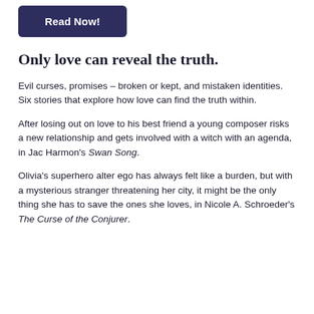Read Now!
Only love can reveal the truth.
Evil curses, promises – broken or kept, and mistaken identities. Six stories that explore how love can find the truth within.
After losing out on love to his best friend a young composer risks a new relationship and gets involved with a witch with an agenda, in Jac Harmon's Swan Song.
Olivia's superhero alter ego has always felt like a burden, but with a mysterious stranger threatening her city, it might be the only thing she has to save the ones she loves, in Nicole A. Schroeder's The Curse of the Conjurer.